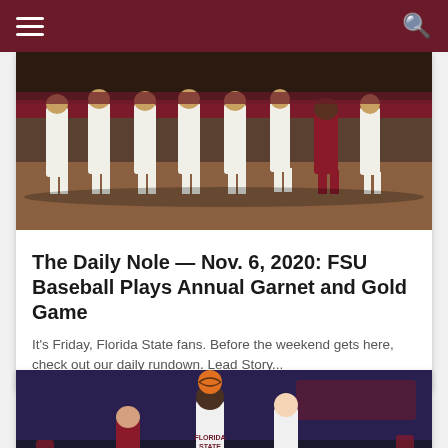[Figure (photo): FSU baseball players gathered on the field, wearing white uniforms with garnet accents, standing near the dugout on a dirt infield.]
The Daily Nole — Nov. 6, 2020: FSU Baseball Plays Annual Garnet and Gold Game
It's Friday, Florida State fans. Before the weekend gets here, check out our daily rundown. Lead Story...
[Figure (photo): FSU basketball player wearing number 23 in a Florida State jersey going up for a shot, surrounded by opposing players in a packed arena.]